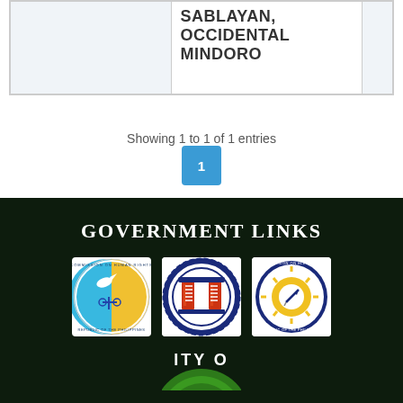|  | SABLAYAN, OCCIDENTAL MINDORO |
Showing 1 to 1 of 1 entries
1
GOVERNMENT LINKS
[Figure (logo): Commission on Human Rights, Republic of the Philippines seal]
[Figure (logo): DPWH or similar Philippine government agency logo with gear and pillars]
[Figure (logo): Commission on Elections, Republic of the Philippines seal]
[Figure (logo): Partial logo - green circular logo partially visible at bottom]